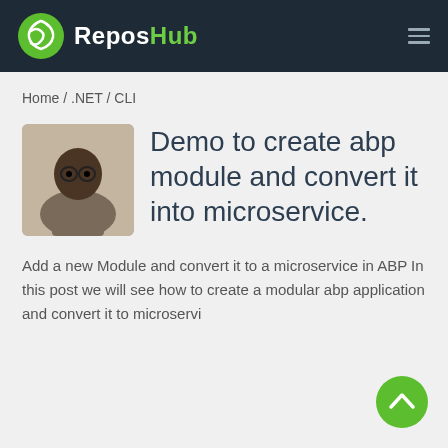ReposHub
Home / .NET / CLI
Demo to create abp module and convert it into microservice.
Add a new Module and convert it to a microservice in ABP In this post we will see how to create a modular abp application and convert it to microservi